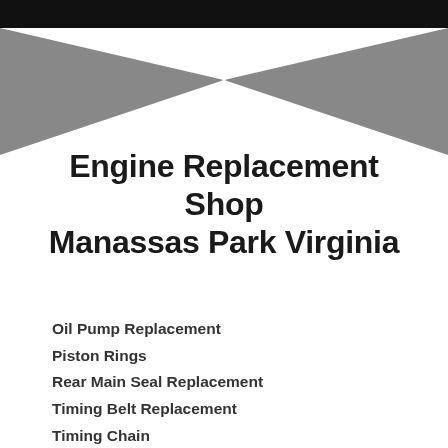[Figure (illustration): Decorative geometric header graphic with black top band and two gray triangular shapes forming an X or chevron pattern on a white background]
Engine Replacement Shop Manassas Park Virginia
Oil Pump Replacement
Piston Rings
Rear Main Seal Replacement
Timing Belt Replacement
Timing Chain
Timing Cover